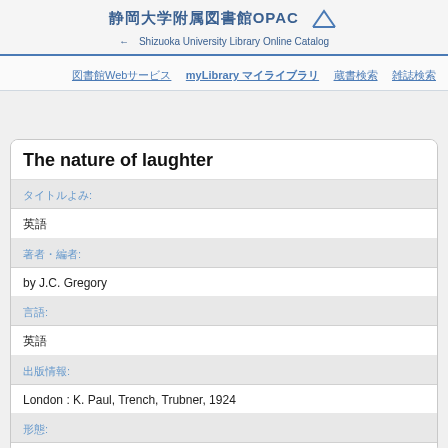静岡大学附属図書館OPAC Shizuoka University Library Online Catalog
図書館Webサービス　myLibrary マイライブラリ　蔵書検索　雑誌検索
The nature of laughter
タイトルよみ:
英語
著者・編者:
by J.C. Gregory
言語:
英語
出版情報:
London : K. Paul, Trench, Trubner, 1924
形態: